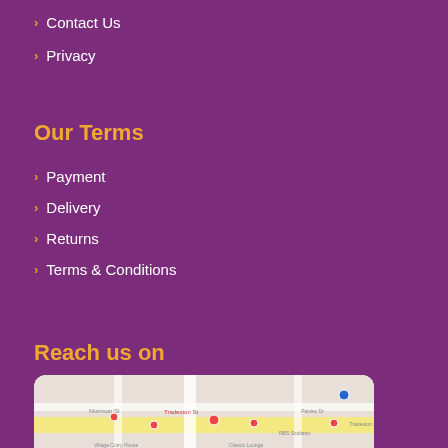Contact Us
Privacy
Our Terms
Payment
Delivery
Returns
Terms & Conditions
Reach us on
[Figure (map): Google Maps showing Tradeston St area, Glasgow, with location pins]
Bonanza International Ltd, 30 Kilbirnie Place, Glasgow, G5 8QR